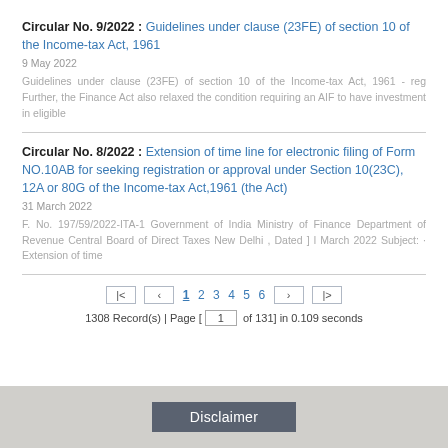Circular No. 9/2022 : Guidelines under clause (23FE) of section 10 of the Income-tax Act, 1961
9 May 2022
Guidelines under clause (23FE) of section 10 of the Income-tax Act, 1961 - reg Further, the Finance Act also relaxed the condition requiring an AIF to have investment in eligible
Circular No. 8/2022 : Extension of time line for electronic filing of Form NO.10AB for seeking registration or approval under Section 10(23C), 12A or 80G of the Income-tax Act,1961 (the Act)
31 March 2022
F. No. 197/59/2022-ITA-1 Government of India Ministry of Finance Department of Revenue Central Board of Direct Taxes New Delhi , Dated ] l March 2022 Subject: · Extension of time
1308 Record(s) | Page [ 1 of 131] in 0.109 seconds
Disclaimer